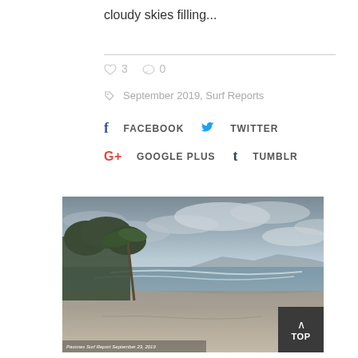cloudy skies filling...
♡ 3   ○ 0
September 2019, Surf Reports
f FACEBOOK   🐦 TWITTER
G+ GOOGLE PLUS   t TUMBLR
[Figure (photo): Beach scene with cloudy overcast skies, palm trees on left, gentle waves on sandy shore, mountains in the distance. Caption reads: Pavones Surf Report September 23, 2019]